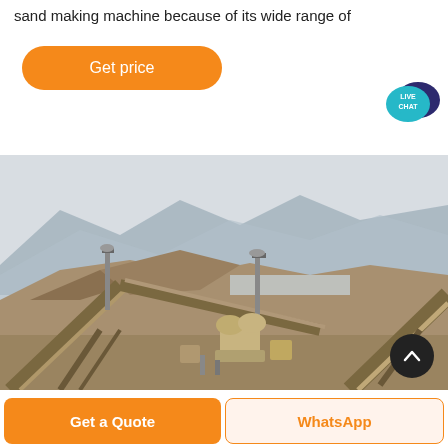sand making machine because of its wide range of
[Figure (other): Orange rounded button labeled 'Get price']
[Figure (other): Live Chat widget with teal speech bubble and dark blue chat icon]
[Figure (photo): Outdoor industrial sand making / mining plant with conveyor belts, machinery, large sand/gravel mounds and mountains in background]
[Figure (other): Scroll-up circular dark button with upward chevron arrow]
[Figure (other): Bottom navigation bar with orange 'Get a Quote' button and 'WhatsApp' button]